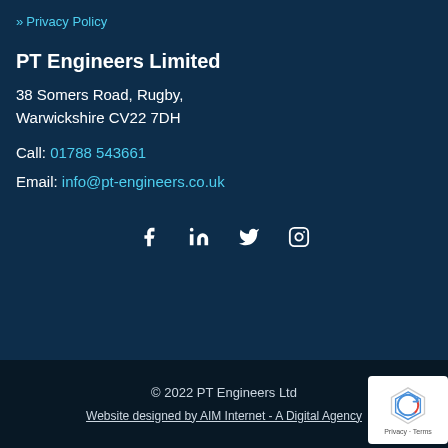» Privacy Policy
PT Engineers Limited
38 Somers Road, Rugby,
Warwickshire CV22 7DH
Call: 01788 543661
Email: info@pt-engineers.co.uk
[Figure (infographic): Social media icons: Facebook, LinkedIn, Twitter, Instagram]
© 2022 PT Engineers Ltd
Website designed by AIM Internet - A Digital Agency